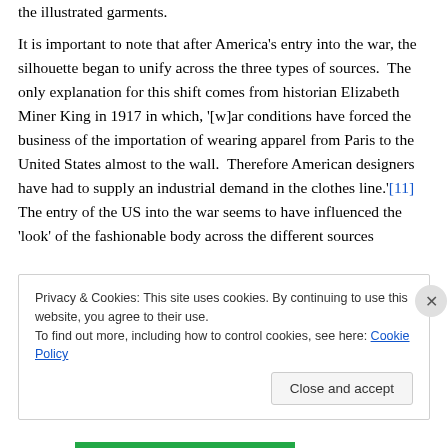the illustrated garments.
It is important to note that after America's entry into the war, the silhouette began to unify across the three types of sources.  The only explanation for this shift comes from historian Elizabeth Miner King in 1917 in which, '[w]ar conditions have forced the business of the importation of wearing apparel from Paris to the United States almost to the wall.  Therefore American designers have had to supply an industrial demand in the clothes line.'[11]  The entry of the US into the war seems to have influenced the 'look' of the fashionable body across the different sources
Privacy & Cookies: This site uses cookies. By continuing to use this website, you agree to their use.
To find out more, including how to control cookies, see here: Cookie Policy